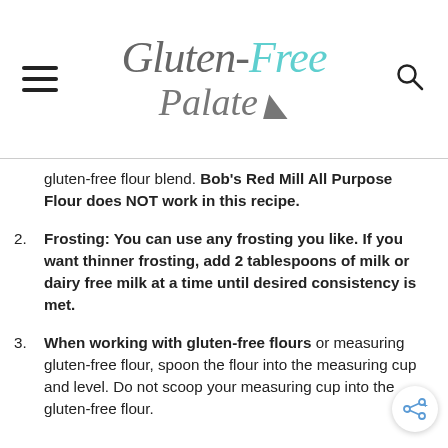Gluten-Free Palate
gluten-free flour blend. Bob's Red Mill All Purpose Flour does NOT work in this recipe.
2. Frosting: You can use any frosting you like. If you want thinner frosting, add 2 tablespoons of milk or dairy free milk at a time until desired consistency is met.
3. When working with gluten-free flours or measuring gluten-free flour, spoon the flour into the measuring cup and level. Do not scoop your measuring cup into the gluten-free flour.